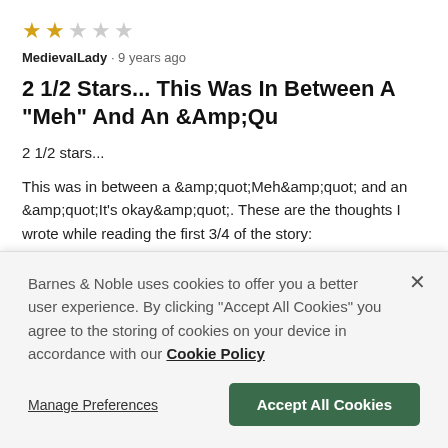[Figure (other): 2 filled gold stars, 3 empty grey stars rating display]
MedievalLady · 9 years ago
2 1/2 Stars... This Was In Between A "Meh" And An &Amp;Qu
2 1/2 stars...
This was in between a &amp;quot;Meh&amp;quot; and an &amp;quot;It's okay&amp;quot;. These are the thoughts I wrote while reading the first 3/4 of the story:
Story Jumps around too much. Having a hard time connecting emotionally at all. I'm seeing nothing in my mind outside of the
Barnes & Noble uses cookies to offer you a better user experience. By clicking "Accept All Cookies" you agree to the storing of cookies on your device in accordance with our Cookie Policy
Manage Preferences
Accept All Cookies